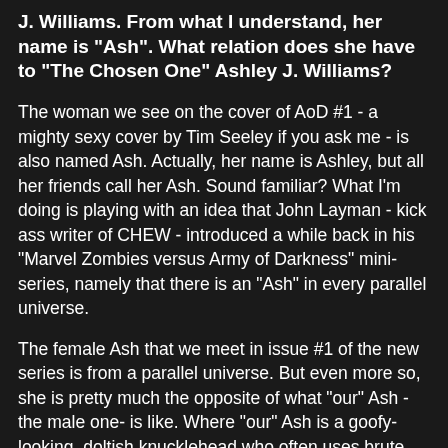J. Williams. From what I understand, her name is "Ash". What relation does she have to "The Chosen One" Ashley J. Williams?
The woman we see on the cover of AoD #1 - a mighty sexy cover by Tim Seeley if you ask me - is also named Ash. Actually, her name is Ashley, but all her friends call her Ash. Sound familiar? What I'm doing is playing with an idea that John Layman - kick ass writer of CHEW - introduced a while back in his "Marvel Zombies versus Army of Darkness" mini-series, namely that there is an "Ash" in every parallel universe.
The female Ash that we meet in issue #1 of the new series is from a parallel universe. But even more so, she is pretty much the opposite of what "our" Ash - the male one- is like. Where "our" Ash is a goofy-looking, doltish knucklehead who often uses brute force and dumb luck to conquer evil, the "alternate" Ashley is a sexy female who uses her smarts and quick wit to succeed. The first issue of the new series focuses on her origin and gives us some examples of how different she is from "our" Ash. Readers will quickly discover